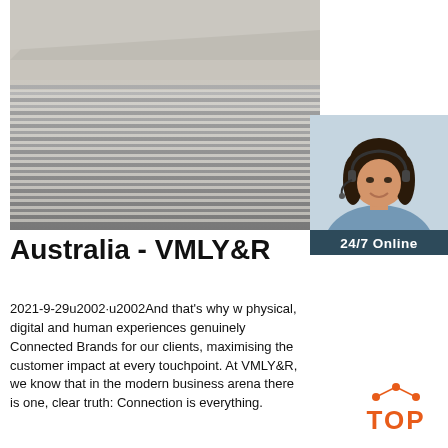[Figure (photo): Stack of steel plates or sheet metal viewed from the side, showing grey metallic surfaces with layered edges]
[Figure (photo): 24/7 Online banner with a smiling female customer service representative wearing a headset, with blue/teal background header and an orange QUOTATION button and 'Click here for free chat!' text]
Australia - VMLY&R
2021-9-29u2002·u2002And that's why we physical, digital and human experiences genuinely Connected Brands for our clients, maximising the customer impact at every touchpoint. At VMLY&R, we know that in the modern business arena there is one, clear truth: Connection is everything.
[Figure (logo): TOP logo with orange triangle/arch dots above the word TOP in orange bold letters]